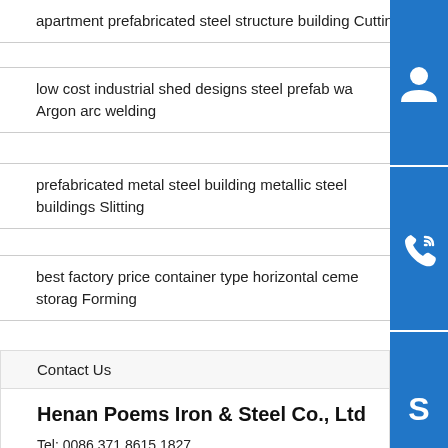apartment prefabricated steel structure building Cutting
low cost industrial shed designs steel prefab wa... Argon arc welding
prefabricated metal steel building metallic steel buildings Slitting
best factory price container type horizontal ceme... storag Forming
Contact Us
Henan Poems Iron & Steel Co., Ltd
Tel: 0086 371 8615 1827
E-Mail: steelsdec@outlook.com